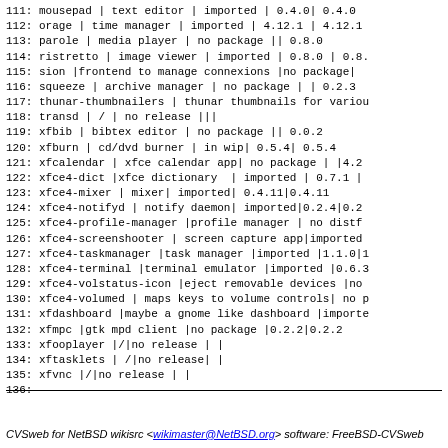111: mousepad | text editor | imported | 0.4.0| 0.4.0
112: orage | time manager | imported | 4.12.1 | 4.12.1
113: parole | media player | no package || 0.8.0
114: ristretto | image viewer | imported | 0.8.0 | 0.8.
115: sion |frontend to manage connexions |no package|
116: squeeze | archive manager | no package | | 0.2.3
117: thunar-thumbnailers | thunar thumbnails for variou
118: transd | / | no release |||
119: xfbib | bibtex editor | no package || 0.0.2
120: xfburn | cd/dvd burner | in wip| 0.5.4| 0.5.4
121: xfcalendar | xfce calendar app| no package | |4.2
122: xfce4-dict |xfce dictionary  | imported | 0.7.1 |
123: xfce4-mixer | mixer| imported| 0.4.11|0.4.11
124: xfce4-notifyd | notify daemon| imported|0.2.4|0.2
125: xfce4-profile-manager |profile manager | no distf
126: xfce4-screenshooter | screen capture app|imported
127: xfce4-taskmanager |task manager |imported |1.1.0|1
128: xfce4-terminal |terminal emulator |imported |0.6.3
129: xfce4-volstatus-icon |eject removable devices |no
130: xfce4-volumed | maps keys to volume controls| no p
131: xfdashboard |maybe a gnome like dashboard |importe
132: xfmpc |gtk mpd client |no package |0.2.2|0.2.2
133: xfooplayer |/|no release | |
134: xftasklets | /|no release| |
135: xfvnc |/|no release | |
136:
CVSweb for NetBSD wikisrc <wikimaster@NetBSD.org> software: FreeBSD-CVSweb